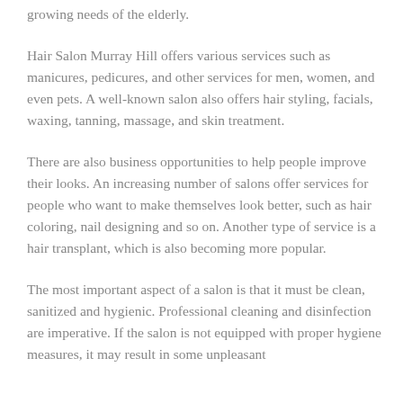growing needs of the elderly.
Hair Salon Murray Hill offers various services such as manicures, pedicures, and other services for men, women, and even pets. A well-known salon also offers hair styling, facials, waxing, tanning, massage, and skin treatment.
There are also business opportunities to help people improve their looks. An increasing number of salons offer services for people who want to make themselves look better, such as hair coloring, nail designing and so on. Another type of service is a hair transplant, which is also becoming more popular.
The most important aspect of a salon is that it must be clean, sanitized and hygienic. Professional cleaning and disinfection are imperative. If the salon is not equipped with proper hygiene measures, it may result in some unpleasant